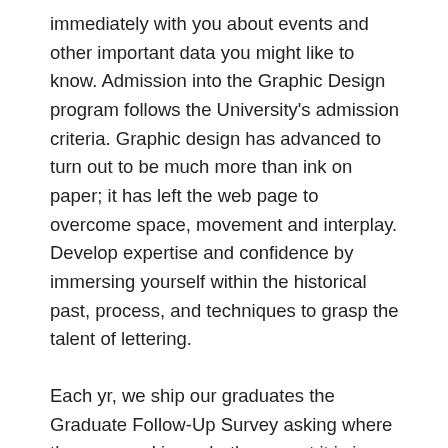immediately with you about events and other important data you might like to know. Admission into the Graphic Design program follows the University's admission criteria. Graphic design has advanced to turn out to be much more than ink on paper; it has left the web page to overcome space, movement and interplay. Develop expertise and confidence by immersing yourself within the historical past, process, and techniques to grasp the talent of lettering.
Each yr, we ship our graduates the Graduate Follow-Up Survey asking where they are working, whether or not it is in their diploma subject, and several other questions associated to employment. From one-on-one critiques and mentoring by trade titans to state-of-the-art sources and star-studded signature occasions, college students have limitless alternatives to broaden their experience and prepare for thriving careers. SCAD's graphic design levels are provided in Atlanta, Savannah,